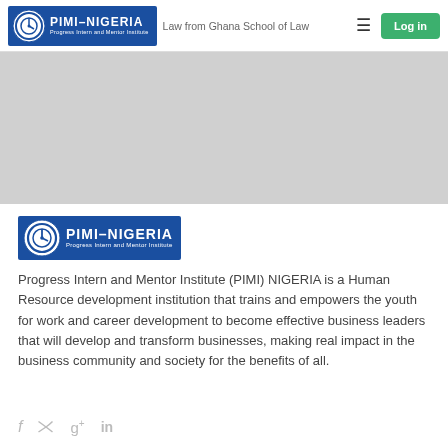PIMI-NIGERIA | Law from Ghana School of Law
[Figure (logo): PIMI-NIGERIA logo with circular clock icon and blue rectangle background, with tagline text below]
Progress Intern and Mentor Institute (PIMI) NIGERIA is a Human Resource development institution that trains and empowers the youth for work and career development to become effective business leaders that will develop and transform businesses, making real impact in the business community and society for the benefits of all.
[Figure (other): Social media icons: Facebook (f), Twitter (bird/t), Google+ (g+), LinkedIn (in)]